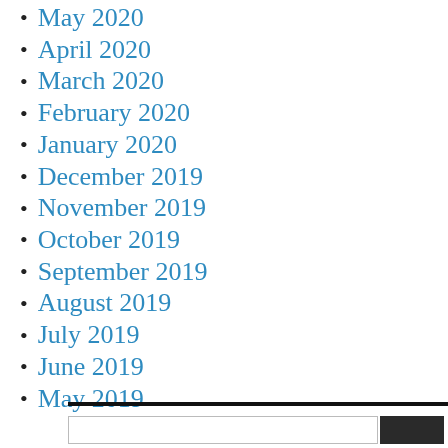May 2020
April 2020
March 2020
February 2020
January 2020
December 2019
November 2019
October 2019
September 2019
August 2019
July 2019
June 2019
May 2019